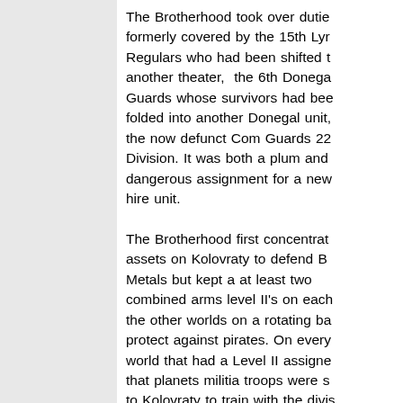The Brotherhood took over duties formerly covered by the 15th Lyran Regulars who had been shifted to another theater, the 6th Donegal Guards whose survivors had been folded into another Donegal unit, the now defunct Com Guards 22nd Division. It was both a plum and dangerous assignment for a new hire unit.
The Brotherhood first concentrated assets on Kolovraty to defend Ba Metals but kept a at least two combined arms level II's on each the other worlds on a rotating basis to protect against pirates. On every world that had a Level II assigned that planets militia troops were sent to Kolovraty to train with the division. This meant that at any one time there was an additional Level III of regular infantry and supporting armor ar